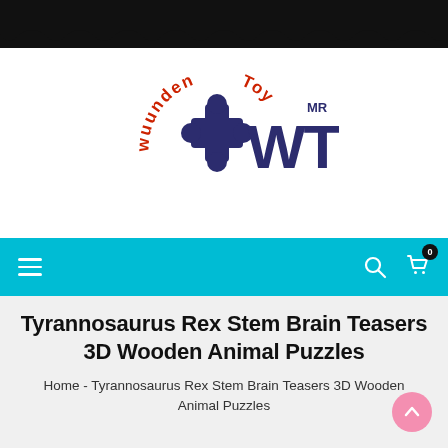[Figure (logo): WuundenToy logo with puzzle piece icon and WT letters, MR superscript]
Navigation bar with hamburger menu, search icon, and cart icon with badge 0
Tyrannosaurus Rex Stem Brain Teasers 3D Wooden Animal Puzzles
Home  -  Tyrannosaurus Rex Stem Brain Teasers 3D Wooden Animal Puzzles